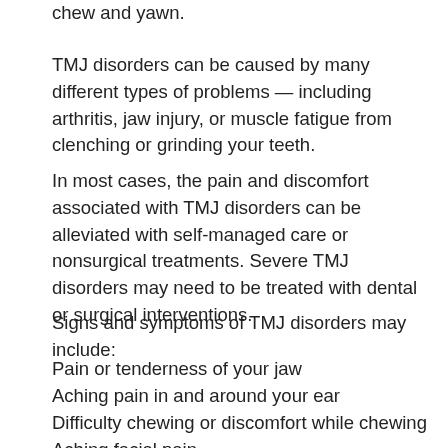chew and yawn.
TMJ disorders can be caused by many different types of problems — including arthritis, jaw injury, or muscle fatigue from clenching or grinding your teeth.
In most cases, the pain and discomfort associated with TMJ disorders can be alleviated with self-managed care or nonsurgical treatments. Severe TMJ disorders may need to be treated with dental or surgical interventions.
Signs and symptoms of TMJ disorders may include:
Pain or tenderness of your jaw
Aching pain in and around your ear
Difficulty chewing or discomfort while chewing
Aching facial pain